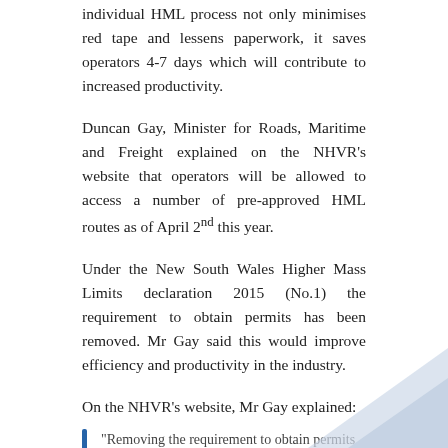individual HML process not only minimises red tape and lessens paperwork, it saves operators 4-7 days which will contribute to increased productivity.
Duncan Gay, Minister for Roads, Maritime and Freight explained on the NHVR's website that operators will be allowed to access a number of pre-approved HML routes as of April 2nd this year.
Under the New South Wales Higher Mass Limits declaration 2015 (No.1) the requirement to obtain permits has been removed. Mr Gay said this would improve efficiency and productivity in the industry.
On the NHVR's website, Mr Gay explained:
“Removing the requirement to obtain permits and offering a higher degree of access certainty to NSW transport operators will improve efficiency and delivery times for industry,”
Source: https://www.nhvr.gov.au
[Tweet ““Removing t…